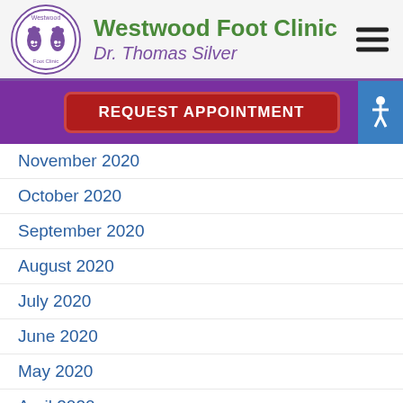[Figure (logo): Westwood Foot Clinic circular logo with purple footprints and smiley faces]
Westwood Foot Clinic
Dr. Thomas Silver
[Figure (other): Red REQUEST APPOINTMENT button on purple background with blue accessibility icon]
November 2020
October 2020
September 2020
August 2020
July 2020
June 2020
May 2020
April 2020
March 2020
February 2020